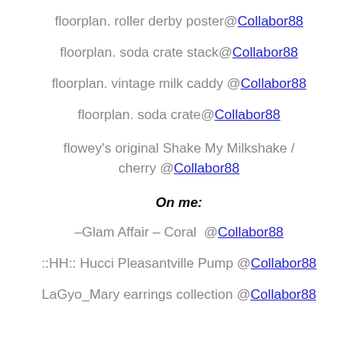floorplan. roller derby poster@Collabor88
floorplan. soda crate stack@Collabor88
floorplan. vintage milk caddy @Collabor88
floorplan. soda crate@Collabor88
flowey's original Shake My Milkshake / cherry @Collabor88
On me:
–Glam Affair – Coral  @Collabor88
::HH:: Hucci Pleasantville Pump @Collabor88
LaGyo_Mary earrings collection @Collabor88